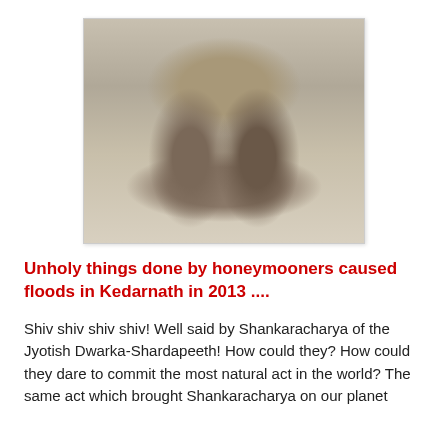[Figure (photo): A woman in a light-colored outfit stands in the center with arms raised, surrounded by men in white clothing, all holding a very large garland/wreath made of currency notes or flowers. The scene appears to be indoors.]
Unholy things done by honeymooners caused floods in Kedarnath in 2013 ....
Shiv shiv shiv shiv! Well said by Shankaracharya of the Jyotish Dwarka-Shardapeeth! How could they? How could they dare to commit the most natural act in the world? The same act which brought Shankaracharya on our planet